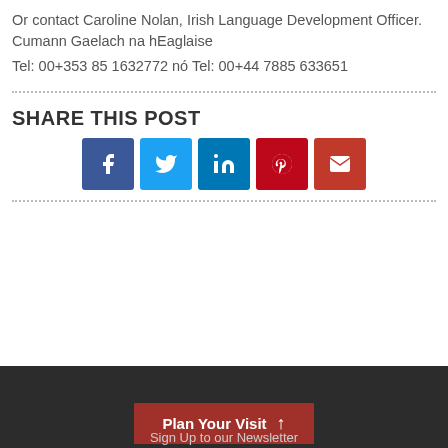Or contact Caroline Nolan, Irish Language Development Officer. Cumann Gaelach na hEaglaise
Tel: 00+353 85 1632772 nó Tel: 00+44 7885 633651
SHARE THIS POST
[Figure (infographic): Five social media share buttons: Facebook (dark blue), Twitter (light blue), LinkedIn (blue), Pinterest (dark red), Email (red)]
Plan Your Visit ↑
Sign Up to our Newsletter